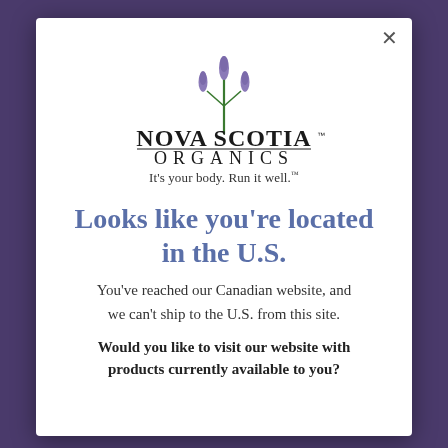[Figure (logo): Nova Scotia Organics logo with lavender plant illustration and text 'NOVA SCOTIA ORGANICS' and tagline 'It's your body. Run it well.']
Looks like you're located in the U.S.
You've reached our Canadian website, and we can't ship to the U.S. from this site.
Would you like to visit our website with products currently available to you?